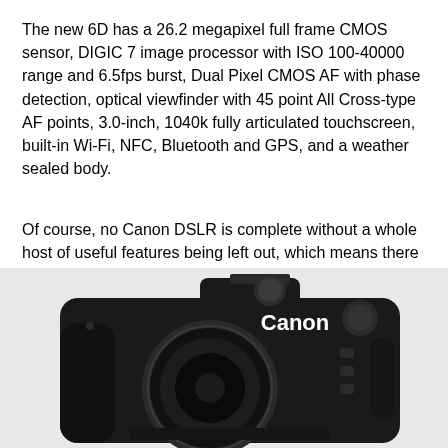The new 6D has a 26.2 megapixel full frame CMOS sensor, DIGIC 7 image processor with ISO 100-40000 range and 6.5fps burst, Dual Pixel CMOS AF with phase detection, optical viewfinder with 45 point All Cross-type AF points, 3.0-inch, 1040k fully articulated touchscreen, built-in Wi-Fi, NFC, Bluetooth and GPS, and a weather sealed body.
Of course, no Canon DSLR is complete without a whole host of useful features being left out, which means there is no 4K recording (only 1080p60), no headphone jack (only mic input), only single SD card slot, 98% viewfinder coverage instead of full 100% and no joystick for selecting the focus point. This despite the fact that the camera is priced at $1999.
[Figure (photo): Canon DSLR camera (Canon 6D) body shown from front, black, with Canon logo visible on the top plate]